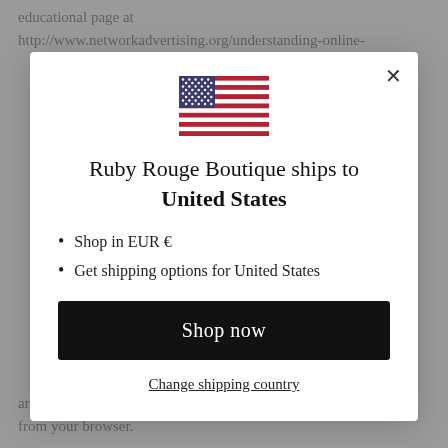educational page at http://www.networkadvertising.org/understanding-online-
[Figure (illustration): US flag icon shown centered in the modal dialog]
Ruby Rouge Boutique ships to United States
Shop in EUR €
Get shipping options for United States
Shop now
Change shipping country
and use practices when we see a Do Not Track signal from your browser.